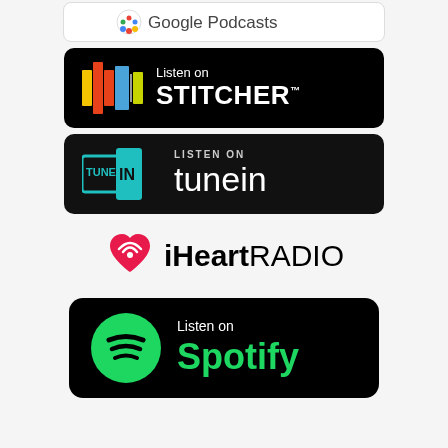[Figure (logo): Google Podcasts badge (partial, cropped at top)]
[Figure (logo): Listen on Stitcher badge — black background with colorful bar icon and white text]
[Figure (logo): Listen on TuneIn badge — dark background with teal TuneIn box logo and white text]
[Figure (logo): iHeartRADIO badge — white background with red heart logo and black text]
[Figure (logo): Listen on Spotify badge — black background with green Spotify circle logo and green/white text]